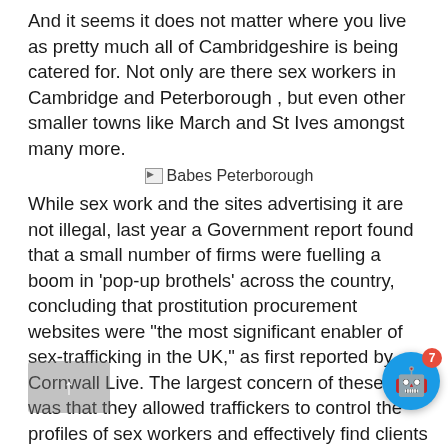And it seems it does not matter where you live as pretty much all of Cambridgeshire is being catered for. Not only are there sex workers in Cambridge and Peterborough , but even other smaller towns like March and St Ives amongst many more.
[Figure (other): Broken image placeholder with caption 'Babes Peterborough']
While sex work and the sites advertising it are not illegal, last year a Government report found that a small number of firms were fuelling a boom in 'pop-up brothels' across the country, concluding that prostitution procurement websites were "the most significant enabler of sex-trafficking in the UK," as first reported by Cornwall Live. The largest concern of these sites was that they allowed traffickers to control the profiles of sex workers and effectively find clients for those under their control. The Government also believes that these sites have made it lucrative for criminals to set up short-term brothels. Girls are brought to a city for a short amou time where they then see clients, after which they are